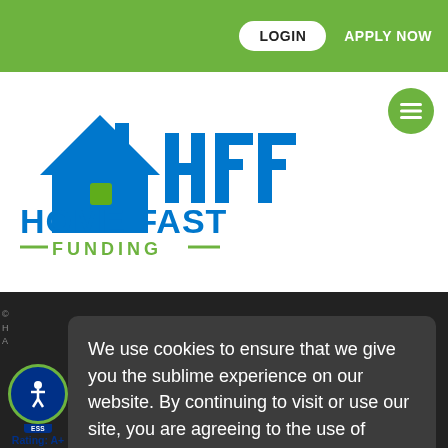LOGIN   APPLY NOW
[Figure (logo): Home Fast Funding logo — blue house icon with HFF letters and 'HOME FAST FUNDING' text]
We use cookies to ensure that we give you the sublime experience on our website. By continuing to visit or use our site, you are agreeing to the use of cookies.
READ MORE   ACCEPT
[Figure (illustration): Accessibility badge with person icon, 'Accessibility' label, and 'Rating: A+' text]